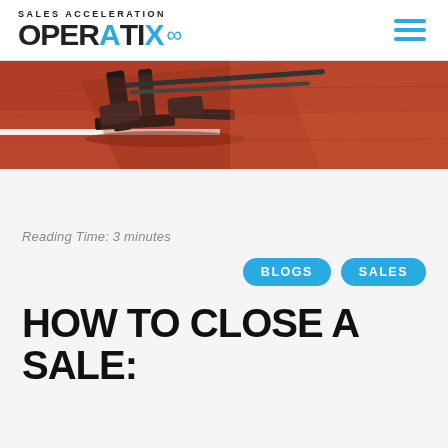SALES ACCELERATION OPERATIX ∞
[Figure (photo): Close-up photo of athletic starting blocks on a red running track, with shadows and white lane markings visible]
Reading Time: 3 minutes
BLOGS  SALES
HOW TO CLOSE A SALE: